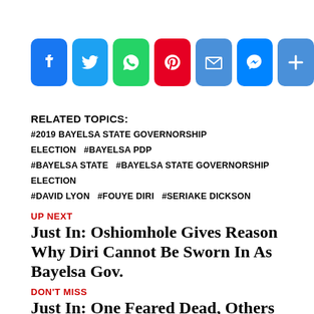[Figure (other): Social sharing icons row: Facebook, Twitter, WhatsApp, Pinterest, Email, Messenger, Share+]
RELATED TOPICS:
#2019 BAYELSA STATE GOVERNORSHIP ELECTION   #BAYELSA PDP #BAYELSA STATE   #BAYELSA STATE GOVERNORSHIP ELECTION #DAVID LYON   #FOUYE DIRI   #SERIAKE DICKSON
UP NEXT
Just In: Oshiomhole Gives Reason Why Diri Cannot Be Sworn In As Bayelsa Gov.
DON'T MISS
Just In: One Feared Dead, Others Injured As Tanker Explodes In Imo
[Figure (other): Social sharing icons row (bottom): Facebook, Twitter, WhatsApp, Pinterest, Email, Messenger, Share+]
ADVERTISEMENT